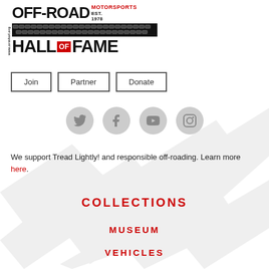[Figure (logo): Off-Road Motorsports Hall of Fame logo with tire track pattern, EST. 1978]
Join
Partner
Donate
[Figure (illustration): Social media icons: Twitter, Facebook, YouTube, Instagram]
We support Tread Lightly! and responsible off-roading. Learn more here.
COLLECTIONS
MUSEUM
VEHICLES